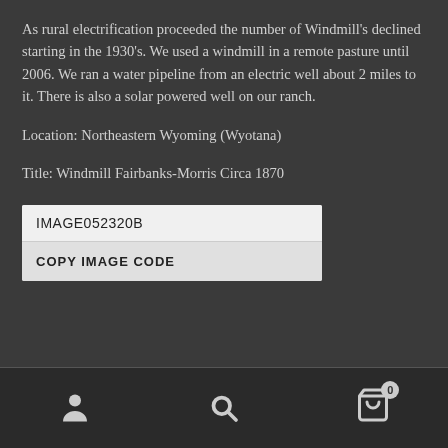As rural electrification proceeded the number of Windmill's declined starting in the 1930's. We used a windmill in a remote pasture until 2006. We ran a water pipeline from an electric well about 2 miles to it. There is also a solar powered well on our ranch.
Location: Northeastern Wyoming (Wyotana)
Title: Windmill Fairbanks-Morris Circa 1870
IMAGE052320B
COPY IMAGE CODE
[Figure (other): Bottom navigation bar with user icon, search icon, and shopping cart icon with badge showing 0]